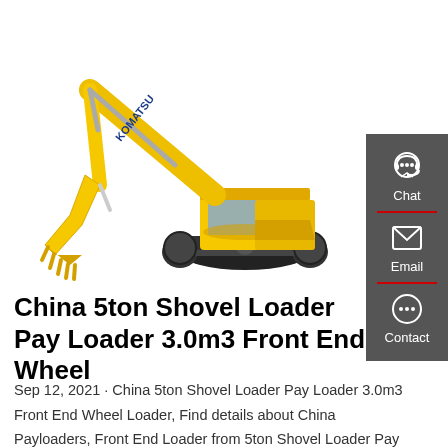[Figure (photo): Komatsu yellow excavator/shovel machine on white background, large digging arm extended to the left with bucket, tracked undercarriage, KOMATSU brand text on boom arm]
China 5ton Shovel Loader Pay Loader 3.0m3 Front End Wheel
Sep 12, 2021 · China 5ton Shovel Loader Pay Loader 3.0m3 Front End Wheel Loader, Find details about China Payloaders, Front End Loader from 5ton Shovel Loader Pay